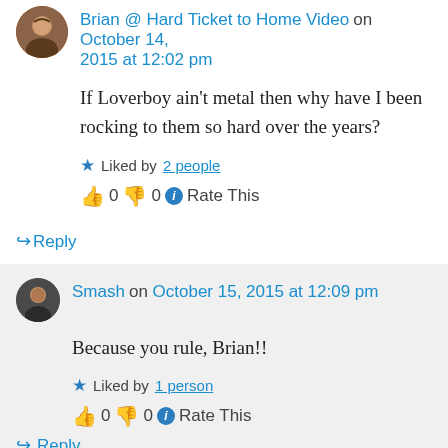Brian @ Hard Ticket to Home Video on October 14, 2015 at 12:02 pm
If Loverboy ain't metal then why have I been rocking to them so hard over the years?
Liked by 2 people
👍 0 👎 0 ℹ Rate This
↳ Reply
Smash on October 15, 2015 at 12:09 pm
Because you rule, Brian!!
Liked by 1 person
👍 0 👎 0 ℹ Rate This
↳ Reply